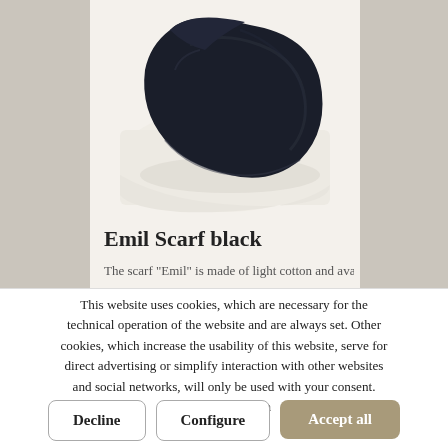[Figure (photo): A dark navy/black folded scarf (Emil Scarf black) displayed on a white background]
Emil Scarf black
The scarf "Emil" is made of light cotton and available in
This website uses cookies, which are necessary for the technical operation of the website and are always set. Other cookies, which increase the usability of this website, serve for direct advertising or simplify interaction with other websites and social networks, will only be used with your consent. More information